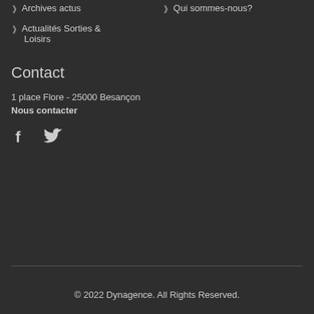Archives actus
Qui sommes-nous?
Actualités Sorties & Loisirs
Contact
1 place Flore - 25000 Besançon
Nous contacter
[Figure (illustration): Facebook and Twitter social media icons]
© 2022 Dynagence. All Rights Reserved.